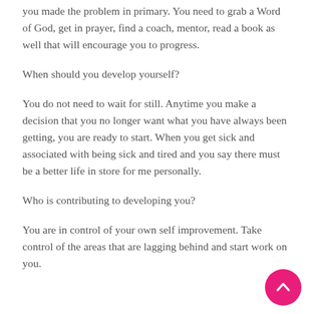you made the problem in primary. You need to grab a Word of God, get in prayer, find a coach, mentor, read a book as well that will encourage you to progress.
When should you develop yourself?
You do not need to wait for still. Anytime you make a decision that you no longer want what you have always been getting, you are ready to start. When you get sick and associated with being sick and tired and you say there must be a better life in store for me personally.
Who is contributing to developing you?
You are in control of your own self improvement. Take control of the areas that are lagging behind and start work on you.